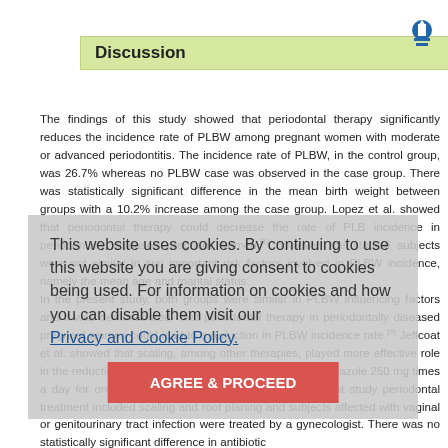Discussion
The findings of this study showed that periodontal therapy significantly reduces the incidence rate of PLBW among pregnant women with moderate or advanced periodontitis. The incidence rate of PLBW, in the control group, was 26.7% whereas no PLBW case was observed in the case group. There was statistically significant difference in the mean birth weight between groups with a 10.2% increase among the case group. Lopez et al. showed that periodontal therapy could decrease the rate of PLB incidence in periodontally diseased pregnant women,[1] however, the studied subjects were not similar in two important risk factors involved in PLBW incidence, namely the mean age and marital status. In the present study, both groups were similar in PLBW influencing factors and it was demonstrated that periodontal therapy in periodontally diseased pregnant women could lead to a reduction in PLBW incidence rate.[9] Jeffcoat et al. showed that scaling, among other therapies, played more effective role in the reduction of PLBW rate and the addition of Metronidazole 250 mg times a day for one week was less beneficial.[7] In the present study periodontal treatment included scaling and root planing and subjects affected with vaginal or genitourinary tract infection were treated by a gynecologist. There was no statistically significant difference in antibiotic therapy between groups.
This website uses cookies. By continuing to use this website you are giving consent to cookies being used. For information on cookies and how you can disable them visit our Privacy and Cookie Policy.